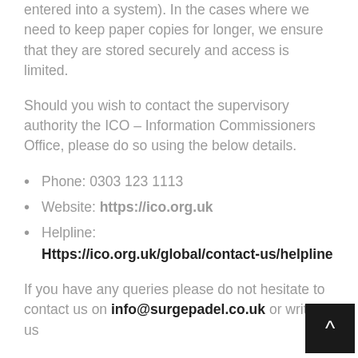entered into a system). In the cases where we need to keep paper copies for longer, we ensure that they are stored securely and access is limited.
Should you wish to contact the supervisory authority the ICO – Information Commissioners Office, please do so using the below details.
Phone: 0303 123 1113
Website: https://ico.org.uk
Helpline: Https://ico.org.uk/global/contact-us/helpline
If you have any queries please do not hesitate to contact us on info@surgepadel.co.uk or write to us